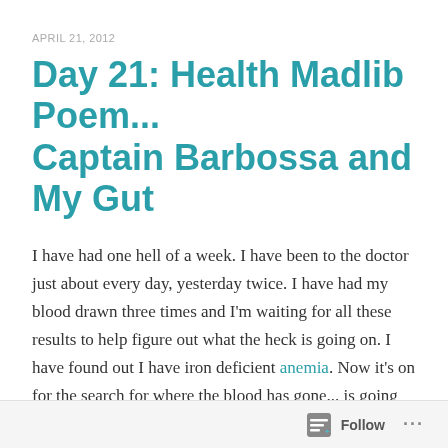APRIL 21, 2012
Day 21: Health Madlib Poem... Captain Barbossa and My Gut
I have had one hell of a week. I have been to the doctor just about every day, yesterday twice. I have had my blood drawn three times and I'm waiting for all these results to help figure out what the heck is going on. I have found out I have iron deficient anemia. Now it's on for the search for where the blood has gone... is going and where it's coming from. I gotta say, I am happy that there is a valid, medically tested and confirmed reason for why I am so damn tired and having such a hard time focusing. I never go to the dr. for these things as they have become a way of life for me... this was just a very good reminder to check in every once in awhile. Coincidentally, Adrienne Dellwo, writer for about.com's Fibro/CFS page posted